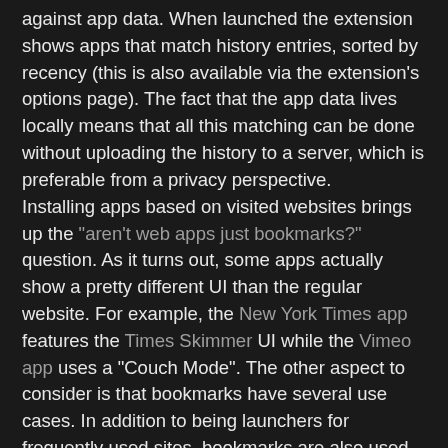against app data. When launched the extension shows apps that match history entries, sorted by recency (this is also available via the extension's options page). The fact that the app data lives locally means that all this matching can be done without uploading the history to a server, which is preferable from a privacy perspective.
Installing apps based on visited websites brings up the "aren't web apps just bookmarks?" question. As it turns out, some apps actually show a pretty different UI than the regular website. For example, the New York Times app features the Times Skimmer UI while the Vimeo app uses a "Couch Mode". The other aspect to consider is that bookmarks have several use cases. In addition to being launchers for frequently used sites, bookmarks are also used for gathering collections of items, remembering where to come back later, etc. Special-casing the launcher use case so that it implies "pretty icons on the homepage" may not be such a bad thing, even ignoring the other extra capabilities of apps.
The URL matching approach has its limitations. For